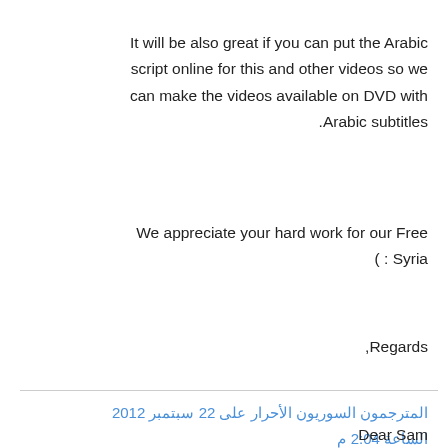It will be also great if you can put the Arabic script online for this and other videos so we can make the videos available on DVD with Arabic subtitles.
We appreciate your hard work for our Free Syria :)
Regards,
المترجمون السوريون الأحرار على 22 سبتمبر 2012 الساعة 2:04 م
Dear Sam